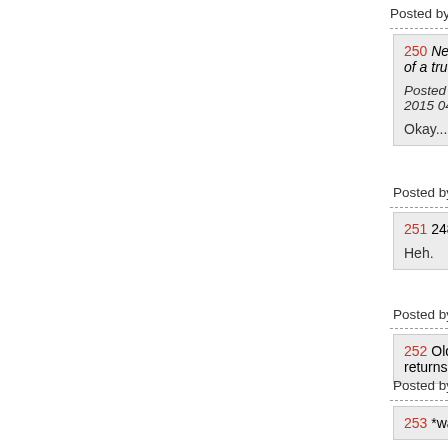Posted by: Carol at April 03, 2015 04:44 PM (sj3Ax)
250 Never so happy to get out of a truck in my l...
Posted by: JackStraw at April 03, 2015 04:43 P...
Okay... nobody light a match.
Posted by: AllenG (DedicatedTenther) - TrueCon at Ap...
251 248,
Heh.
Posted by: SMFH at it all at April 03, 2015 04:44 PM (
252 Old troll Seattle Slough returns to berate us...
Posted by: andycanuck at April 03, 2015 04:44 PM (kiv...
253 *waves to Carol*